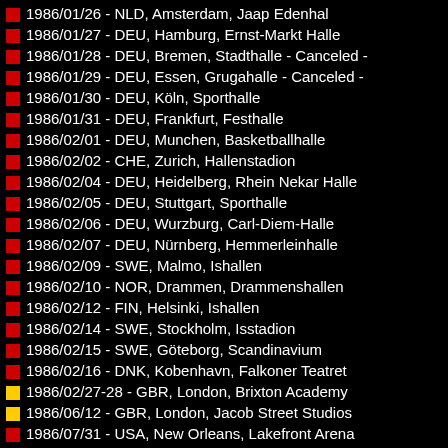1986/01/26 - NLD, Amsterdam, Jaap Edenhal
1986/01/27 - DEU, Hamburg, Ernst-Markt Halle
1986/01/28 - DEU, Bremen, Stadthalle - Canceled -
1986/01/29 - DEU, Essen, Grugahalle - Canceled -
1986/01/30 - DEU, Köln, Sporthalle
1986/01/31 - DEU, Frankfurt, Festhalle
1986/02/01 - DEU, Munchen, Basketballhalle
1986/02/02 - CHE, Zurich, Hallenstadion
1986/02/04 - DEU, Heidelberg, Rhein Nekar Halle
1986/02/05 - DEU, Stuttgart, Sporthalle
1986/02/06 - DEU, Wurzburg, Carl-Diem-Halle
1986/02/07 - DEU, Nürnberg, Hemmerleinhalle
1986/02/09 - SWE, Malmo, Ishallen
1986/02/10 - NOR, Drammen, Drammenshallen
1986/02/12 - FIN, Helsinki, Ishallen
1986/02/14 - SWE, Stockholm, Isstadion
1986/02/15 - SWE, Göteborg, Scandinavium
1986/02/16 - DNK, Kobenhavn, Falkoner Teatret
1986/02/27-28 - GBR, London, Brixton Academy
1986/06/12 - GBR, London, Jacob Street Studios
1986/07/31 - USA, New Orleans, Lakefront Arena
1986/08/01 - USA, Shreveport, Hirsch Memorial Coliseum